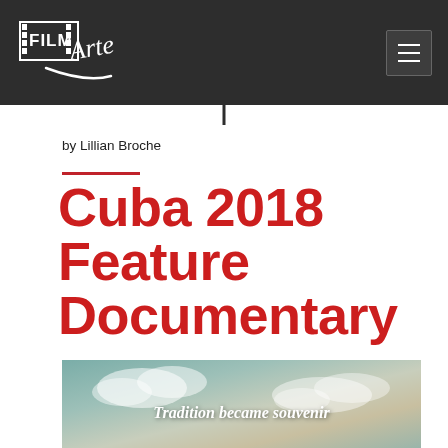Film Arte
by Lillian Broche
Cuba 2018 Feature Documentary
[Figure (photo): Documentary film still or promotional image showing a sky with clouds and the text 'Tradition became souvenir' overlaid in white bold italic text]